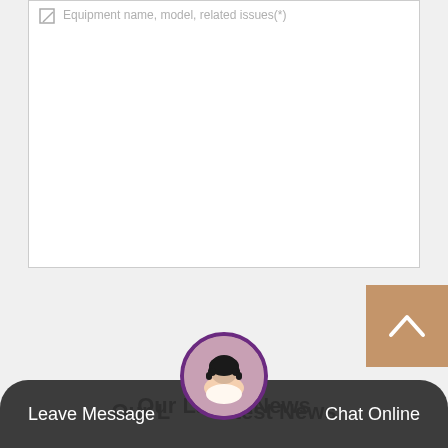[Figure (screenshot): Text area input field with placeholder text 'Equipment name, model, related issues(*)']
[Figure (screenshot): Send Now! button in tan/brown color]
[Figure (screenshot): Scroll to top button (chevron up) in tan/brown color at right]
Our Latest News
Leave Message   Chat Online